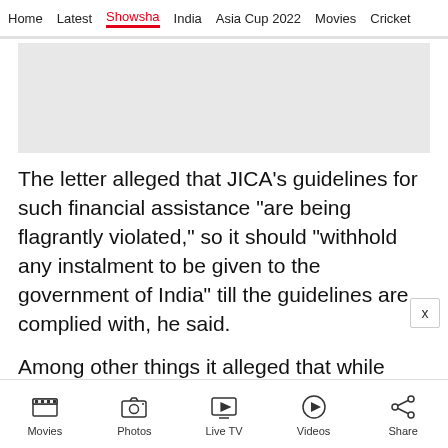Home  Latest  Showsha  India  Asia Cup 2022  Movies  Cricket
[Figure (other): Advertisement placeholder banner, light gray background]
The letter alleged that JICA's guidelines for such financial assistance "are being flagrantly violated," so it should "withhold any instalment to be given to the government of India" till the guidelines are complied with, he said.
Among other things it alleged that while JICA guidelines seek setting up of an advisory committee for environmental and social
Movies  Photos  Live TV  Videos  Share